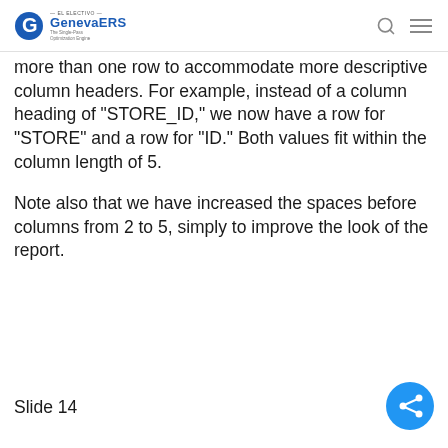GenevaERS — The Single-Pass Optimization Engine
more than one row to accommodate more descriptive column headers. For example, instead of a column heading of "STORE_ID," we now have a row for "STORE" and a row for "ID." Both values fit within the column length of 5.
Note also that we have increased the spaces before columns from 2 to 5, simply to improve the look of the report.
Slide 14